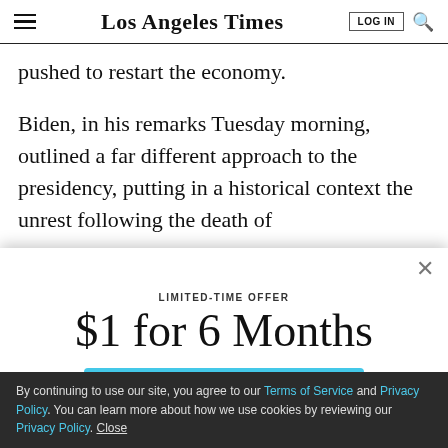Los Angeles Times
pushed to restart the economy.
Biden, in his remarks Tuesday morning, outlined a far different approach to the presidency, putting in a historical context the unrest following the death of
LIMITED-TIME OFFER
$1 for 6 Months
SUBSCRIBE NOW
By continuing to use our site, you agree to our Terms of Service and Privacy Policy. You can learn more about how we use cookies by reviewing our Privacy Policy. Close